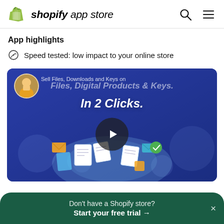shopify app store
App highlights
Speed tested: low impact to your online store
[Figure (screenshot): Video thumbnail with blue background showing 'Sell Files, Downloads and Keys on. Files, Digital Products & Keys. In 2 Clicks.' with a play button overlay and illustrated documents/files floating around a globe. A circular avatar of a person in yellow shirt appears in the top-left corner.]
Don't have a Shopify store? Start your free trial →